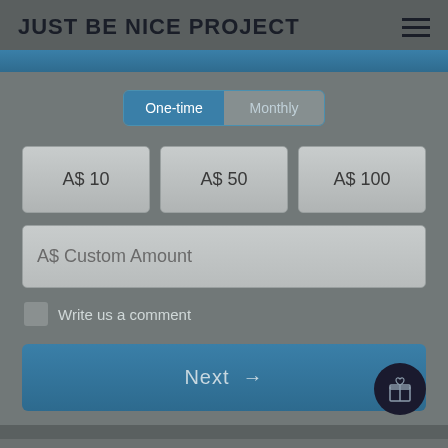JUST BE NICE PROJECT
[Figure (screenshot): Navigation hamburger menu icon (three horizontal lines)]
[Figure (infographic): Blue progress/header bar]
One-time   Monthly
A$ 10
A$ 50
A$ 100
A$ Custom Amount
Write us a comment
Next →
[Figure (illustration): Gift box icon in dark circular button]